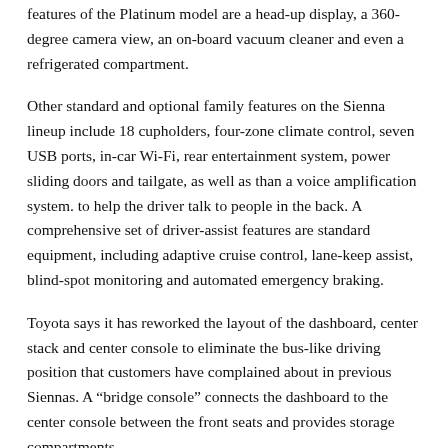features of the Platinum model are a head-up display, a 360-degree camera view, an on-board vacuum cleaner and even a refrigerated compartment.
Other standard and optional family features on the Sienna lineup include 18 cupholders, four-zone climate control, seven USB ports, in-car Wi-Fi, rear entertainment system, power sliding doors and tailgate, as well as than a voice amplification system. to help the driver talk to people in the back. A comprehensive set of driver-assist features are standard equipment, including adaptive cruise control, lane-keep assist, blind-spot monitoring and automated emergency braking.
Toyota says it has reworked the layout of the dashboard, center stack and center console to eliminate the bus-like driving position that customers have complained about in previous Siennas. A “bridge console” connects the dashboard to the center console between the front seats and provides storage compartments